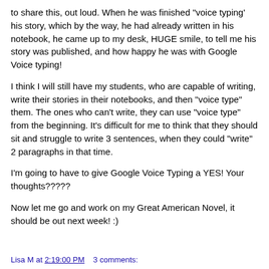to share this, out loud. When he was finished "voice typing' his story, which by the way, he had already written in his notebook, he came up to my desk, HUGE smile, to tell me his story was published, and how happy he was with Google Voice typing!
I think I will still have my students, who are capable of writing, write their stories in their notebooks, and then "voice type" them. The ones who can't write, they can use "voice type" from the beginning. It's difficult for me to think that they should sit and struggle to write 3 sentences, when they could "write" 2 paragraphs in that time.
I'm going to have to give Google Voice Typing a YES! Your thoughts?????
Now let me go and work on my Great American Novel, it should be out next week! :)
Lisa M at 2:19:00 PM    3 comments: